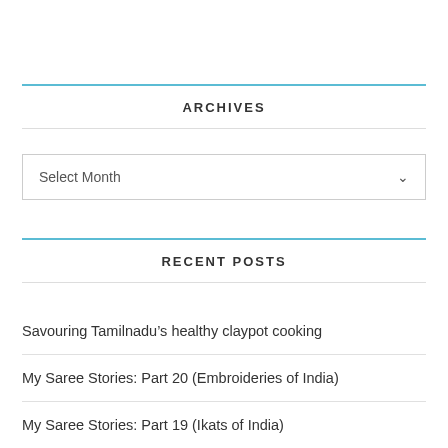ARCHIVES
Select Month
RECENT POSTS
Savouring Tamilnadu’s healthy claypot cooking
My Saree Stories: Part 20 (Embroideries of India)
My Saree Stories: Part 19 (Ikats of India)
Your idea of beauty is not mine